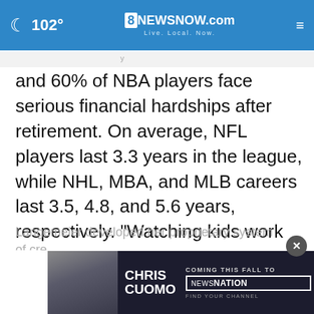102° | 8NewsNow.com | Live. Local. Now.
and 60% of NBA players face serious financial hardships after retirement. On average, NFL players last 3.3 years in the league, while NHL, MBA, and MLB careers last 3.5, 4.8, and 5.6 years, respectively. "Watching kids work their butts off to go pro, only then to lose it all because they never were taught financial literacy—that's a sin," states Langemeier.
Langemeier developed her proprietary system of cre
[Figure (other): Advertisement banner for Chris Cuomo Coming This Fall to NewsNation]